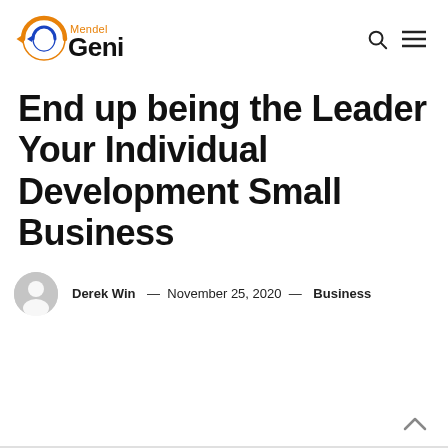Mendel Genius
End up being the Leader Your Individual Development Small Business
Derek Win — November 25, 2020 — Business